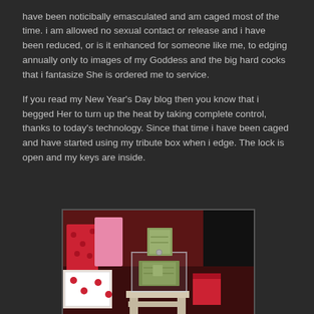have been noticibally emasculated and am caged most of the time. i am allowed no sexual contact or release and i have been reduced, or is it enhanced for someone like me, to edging annually only to images of my Goddess and the big hard cocks that i fantasize She is ordered me to service.
If you read my New Year's Day blog then you know that i begged Her to turn up the heat by taking complete control, thanks to today's technology.  Since that time i have been caged and have started using my tribute box when i edge.  The lock is open and  my keys are inside.
[Figure (photo): A clear acrylic/glass box containing folded currency (dollar bills) sitting on a white pedestal stand, surrounded by gift bags and wrapped presents in red and white patterns, with a dark background.]